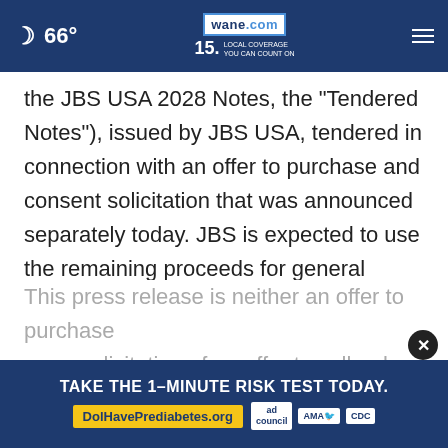66° | wane.com | 15 LOCAL COVERAGE YOU CAN COUNT ON
the JBS USA 2028 Notes, the "Tendered Notes"), issued by JBS USA, tendered in connection with an offer to purchase and consent solicitation that was announced separately today. JBS is expected to use the remaining proceeds for general corporate purposes, including the repayment of certain debt.
This press release is neither an offer to purchase nor a solicitation of an offer to sell or buy the Note
[Figure (screenshot): Advertisement banner: TAKE THE 1-MINUTE RISK TEST TODAY. DolHavePrediabetes.org with ad council, AMA, and CDC logos]